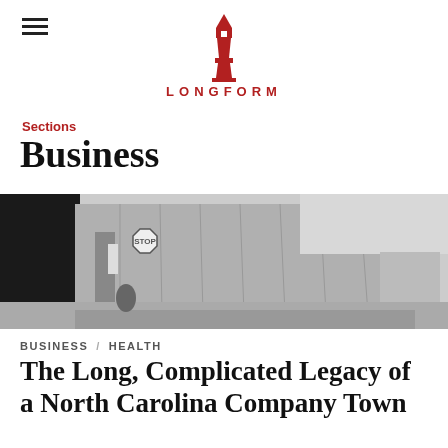LONGFORM
Sections
Business
[Figure (photo): Black and white photograph of an abandoned industrial warehouse building with a STOP sign visible near the entrance, long corrugated metal walls extending into the distance.]
BUSINESS / HEALTH
The Long, Complicated Legacy of a North Carolina Company Town